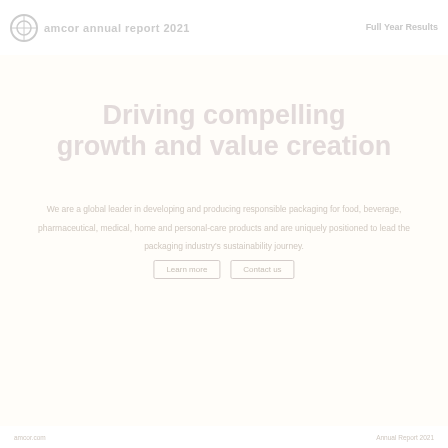AMCOR ANNUAL REPORT 2021 | FULL YEAR RESULTS
Driving compelling growth and value creation
We are a global leader in developing and producing responsible packaging for food, beverage, pharmaceutical, medical, home and personal-care products.
Learn more   Contact us
amcor.com   Annual Report 2021